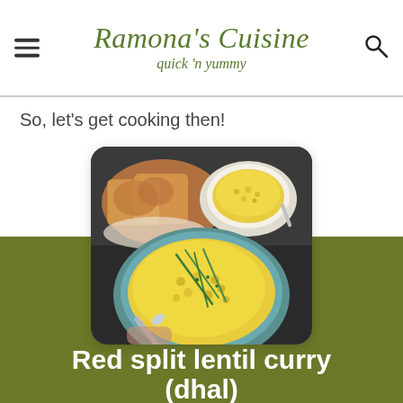Ramona's Cuisine — quick 'n yummy
So, let's get cooking then!
[Figure (photo): Photo of red split lentil curry (dhal) in bowls with bread, garnished with chives, shown from above on a dark surface.]
Red split lentil curry (dhal)